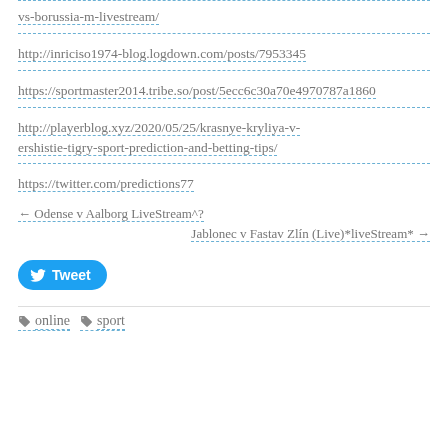vs-borussia-m-livestream/
http://inriciso1974-blog.logdown.com/posts/7953345
https://sportmaster2014.tribe.so/post/5ecc6c30a70e4970787a1860
http://playerblog.xyz/2020/05/25/krasnye-kryliya-v-ershistie-tigry-sport-prediction-and-betting-tips/
https://twitter.com/predictions77
← Odense v Aalborg LiveStream^?
Jablonec v Fastav Zlín (Live)*liveStream* →
Tweet
online sport